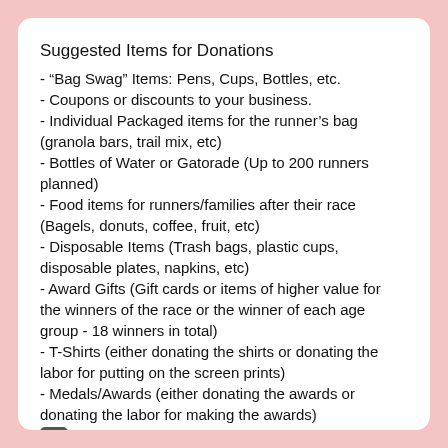Suggested Items for Donations
- “Bag Swag” Items: Pens, Cups, Bottles, etc.
- Coupons or discounts to your business.
- Individual Packaged items for the runner’s bag (granola bars, trail mix, etc)
- Bottles of Water or Gatorade (Up to 200 runners planned)
- Food items for runners/families after their race (Bagels, donuts, coffee, fruit, etc)
- Disposable Items (Trash bags, plastic cups, disposable plates, napkins, etc)
- Award Gifts (Gift cards or items of higher value for the winners of the race or the winner of each age group - 18 winners in total)
- T-Shirts (either donating the shirts or donating the labor for putting on the screen prints)
- Medals/Awards (either donating the awards or donating the labor for making the awards)
- Equipment for the Race ( Black or Red EZ Pop Up Tent, Portable Power - like the EGO PowerStation or Rockpals 350w powerstation, Metal Archway for the